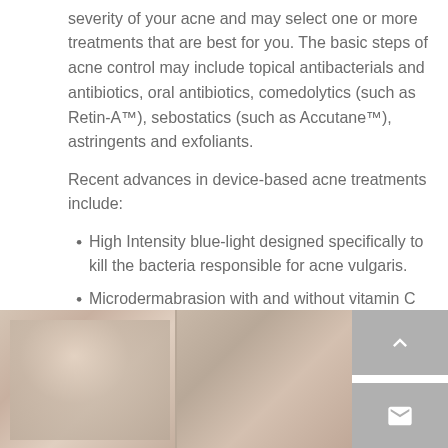severity of your acne and may select one or more treatments that are best for you. The basic steps of acne control may include topical antibacterials and antibiotics, oral antibiotics, comedolytics (such as Retin-A™), sebostatics (such as Accutane™), astringents and exfoliants.
Recent advances in device-based acne treatments include:
High Intensity blue-light designed specifically to kill the bacteria responsible for acne vulgaris.
Microdermabrasion with and without vitamin C ascorbic acid.
[Figure (photo): Before and after comparison photos showing skin texture on cheek area, two side-by-side images]